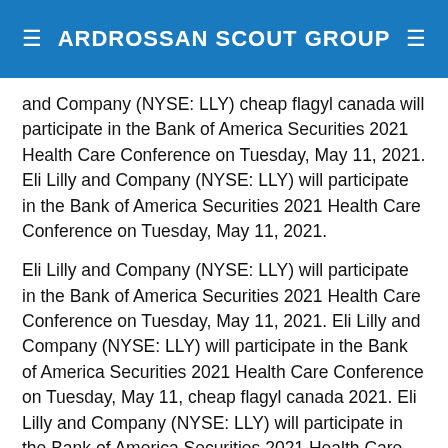ARDROSSAN SCOUT GROUP
and Company (NYSE: LLY) cheap flagyl canada will participate in the Bank of America Securities 2021 Health Care Conference on Tuesday, May 11, 2021. Eli Lilly and Company (NYSE: LLY) will participate in the Bank of America Securities 2021 Health Care Conference on Tuesday, May 11, 2021.
Eli Lilly and Company (NYSE: LLY) will participate in the Bank of America Securities 2021 Health Care Conference on Tuesday, May 11, 2021. Eli Lilly and Company (NYSE: LLY) will participate in the Bank of America Securities 2021 Health Care Conference on Tuesday, May 11, cheap flagyl canada 2021. Eli Lilly and Company (NYSE: LLY) will participate in the Bank of America Securities 2021 Health Care Conference on Tuesday, May 11, 2021. Eli Lilly and cheap flagyl canada Company (NYSE: LLY) will participate in the Bank of America Securities 2021 Health Care Conference on Tuesday, May 11, 2021.
Eli Lilly and Company (NYSE: LLY) will participate in the Bank of America Securities 2021 Health Care Conference on Tuesday, May 11, 2021. Eli Lilly and Company (NYSE: LLY) will participate in the Bank of America Securities 2021 Health Care Conference